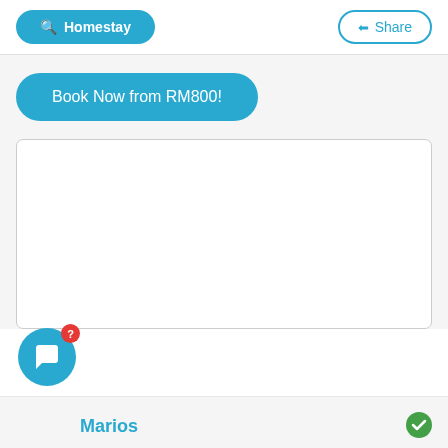Homestay
Share
Book Now from RM800!
[Figure (screenshot): White empty card/map area]
Marios